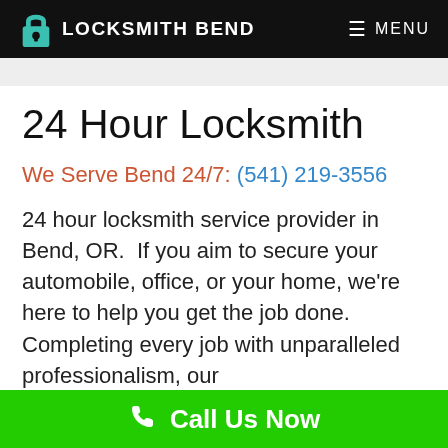LOCKSMITH BEND   ≡ MENU
24 Hour Locksmith
We Serve Bend 24/7: (541) 219-3556
24 hour locksmith service provider in Bend, OR.  If you aim to secure your automobile, office, or your home, we're here to help you get the job done. Completing every job with unparalleled professionalism, our
Call Us Now